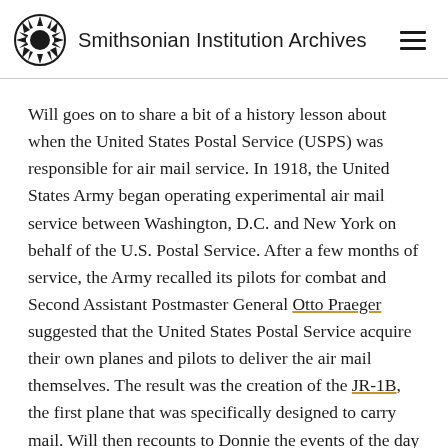Smithsonian Institution Archives
Will goes on to share a bit of a history lesson about when the United States Postal Service (USPS) was responsible for air mail service. In 1918, the United States Army began operating experimental air mail service between Washington, D.C. and New York on behalf of the U.S. Postal Service. After a few months of service, the Army recalled its pilots for combat and Second Assistant Postmaster General Otto Praeger suggested that the United States Postal Service acquire their own planes and pilots to deliver the air mail themselves. The result was the creation of the JR-1B, the first plane that was specifically designed to carry mail. Will then recounts to Donnie the events of the day the U.S. Postal Service took